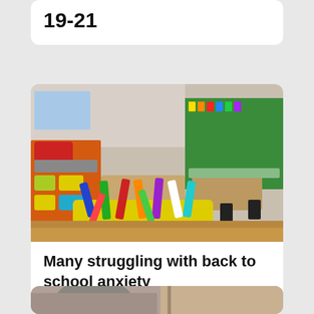19-21
[Figure (photo): Empty elementary school classroom with colorful shelves, tables, chairs, and a yellow bin of markers and colored pencils in the foreground. A green board is visible in the background.]
Many struggling with back to school anxiety
[Figure (photo): Partial view of a person, cropped at bottom of page]